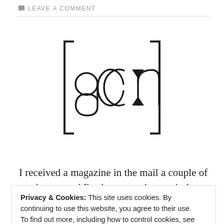LEAVE A COMMENT
[Figure (logo): Phonetic transcription logo showing [gɔːn] in large outlined letterforms with IPA symbols]
I received a magazine in the mail a couple of weeks ago and I've been wanting to sit down
Privacy & Cookies: This site uses cookies. By continuing to use this website, you agree to their use.
To find out more, including how to control cookies, see here:
Cookie Policy
Close and accept
Fikon (aka Maison og Mor), have obviously